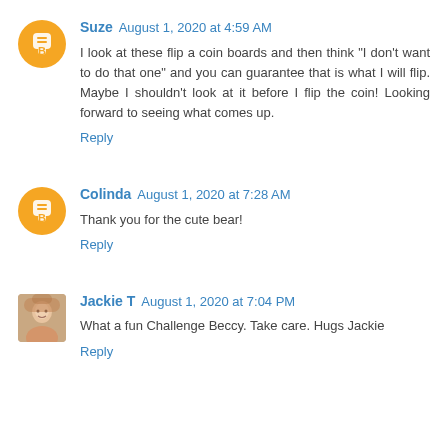Suze August 1, 2020 at 4:59 AM
I look at these flip a coin boards and then think "I don't want to do that one" and you can guarantee that is what I will flip. Maybe I shouldn't look at it before I flip the coin! Looking forward to seeing what comes up.
Reply
Colinda August 1, 2020 at 7:28 AM
Thank you for the cute bear!
Reply
Jackie T August 1, 2020 at 7:04 PM
What a fun Challenge Beccy. Take care. Hugs Jackie
Reply